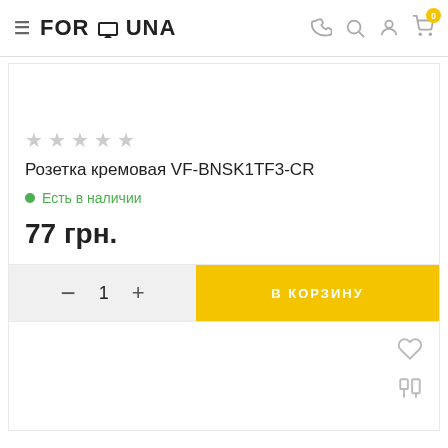FORTUNA — navigation header with hamburger menu, logo, phone, search, account, and cart icons
★★★★★ (empty stars rating)
Розетка кремовая VF-BNSK1TF3-CR
● Есть в наличии
77 грн.
— 1 + В КОРЗИНУ